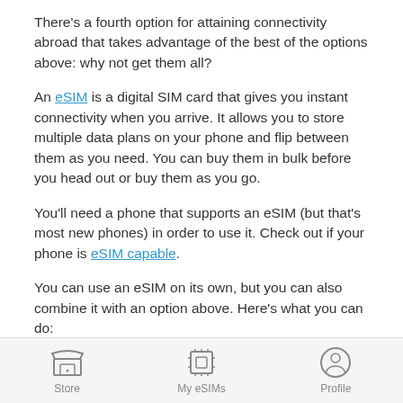There's a fourth option for attaining connectivity abroad that takes advantage of the best of the options above: why not get them all?
An eSIM is a digital SIM card that gives you instant connectivity when you arrive. It allows you to store multiple data plans on your phone and flip between them as you need. You can buy them in bulk before you head out or buy them as you go.
You'll need a phone that supports an eSIM (but that's most new phones) in order to use it. Check out if your phone is eSIM capable.
You can use an eSIM on its own, but you can also combine it with an option above. Here's what you can do:
Store   My eSIMs   Profile